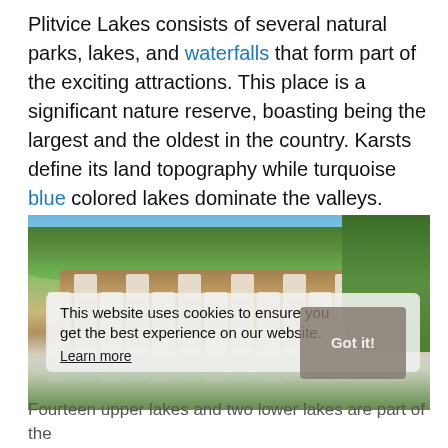Plitvice Lakes consists of several natural parks, lakes, and waterfalls that form part of the exciting attractions. This place is a significant nature reserve, boasting being the largest and the oldest in the country. Karsts define its land topography while turquoise blue colored lakes dominate the valleys.
[Figure (photo): Photo of Plitvice Lakes waterfalls with lush green trees and vegetation above rocky cliffs from which multiple waterfalls cascade down]
This website uses cookies to ensure you get the best experience on our website. Learn more
Fourteen upper lakes and two lower lakes are part of the